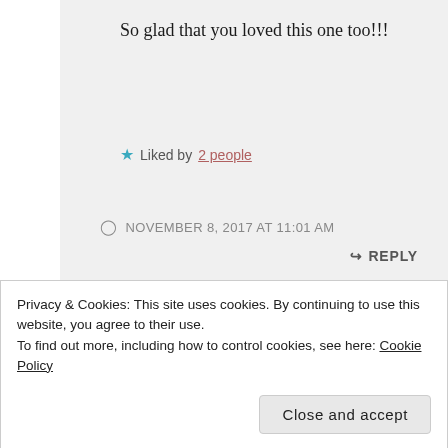So glad that you loved this one too!!!
★ Liked by 2 people
NOVEMBER 8, 2017 AT 11:01 AM
↳ REPLY
[Figure (photo): Circular avatar photo of a woman with dark hair and red-framed glasses, with dark red/maroon border.]
Reads & Reels
Privacy & Cookies: This site uses cookies. By continuing to use this website, you agree to their use.
To find out more, including how to control cookies, see here: Cookie Policy
Close and accept